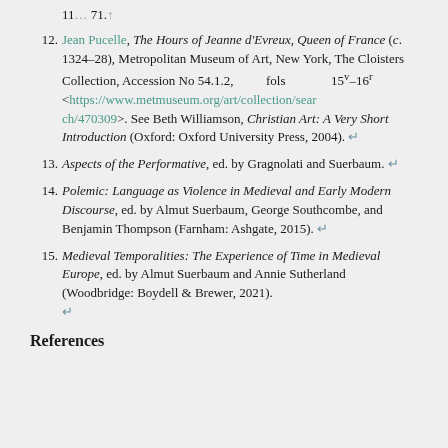12. Jean Pucelle, The Hours of Jeanne d'Evreux, Queen of France (c. 1324–28), Metropolitan Museum of Art, New York, The Cloisters Collection, Accession No 54.1.2, fols 15v–16r <https://www.metmuseum.org/art/collection/search/470309>. See Beth Williamson, Christian Art: A Very Short Introduction (Oxford: Oxford University Press, 2004). ↵
13. Aspects of the Performative, ed. by Gragnolati and Suerbaum. ↵
14. Polemic: Language as Violence in Medieval and Early Modern Discourse, ed. by Almut Suerbaum, George Southcombe, and Benjamin Thompson (Farnham: Ashgate, 2015). ↵
15. Medieval Temporalities: The Experience of Time in Medieval Europe, ed. by Almut Suerbaum and Annie Sutherland (Woodbridge: Boydell & Brewer, 2021). ↵
References